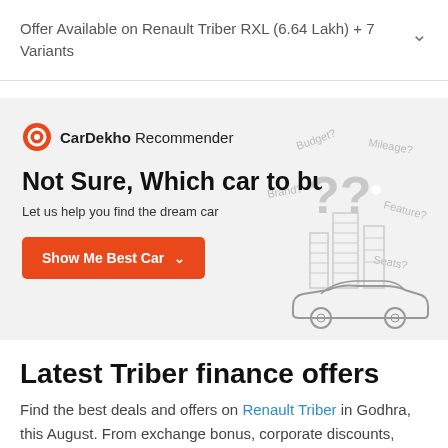Offer Available on Renault Triber RXL (6.64 Lakh) + 7 Variants
[Figure (screenshot): CarDekho Recommender banner with logo, headline 'Not Sure, Which car to bu', subtext 'Let us help you find the dream car', orange CTA button 'Show Me Best Car', and illustration of a car with question marks for Budget, Mileage, Brand, Feature, Seats]
Latest Triber finance offers
Find the best deals and offers on Renault Triber in Godhra, this August. From exchange bonus, corporate discounts,